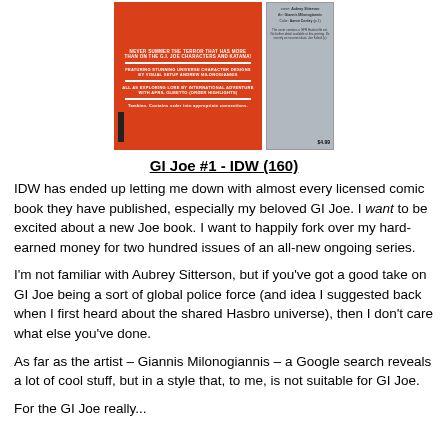[Figure (illustration): Comic book cover for GI Joe #1 IDW. Left portion has an orange-red background with white text lines and a small dark stripe at the bottom left. Right portion shows a gray back-cover panel with small text lines and a price.]
GI Joe #1 - IDW (160)
IDW has ended up letting me down with almost every licensed comic book they have published, especially my beloved GI Joe. I want to be excited about a new Joe book. I want to happily fork over my hard-earned money for two hundred issues of an all-new ongoing series.
I'm not familiar with Aubrey Sitterson, but if you've got a good take on GI Joe being a sort of global police force (and idea I suggested back when I first heard about the shared Hasbro universe), then I don't care what else you've done.
As far as the artist – Giannis Milonogiannis – a Google search reveals a lot of cool stuff, but in a style that, to me, is not suitable for GI Joe.
For the GI Joe really...